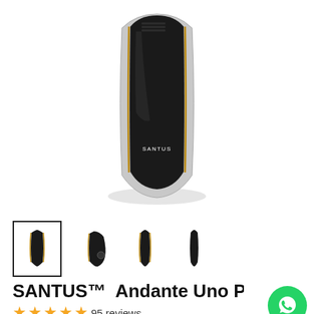[Figure (photo): Main product image of SANTUS Andante Uno device — a sleek black and silver elongated pod-like electronic device with gold trim and SANTUS label, shown against white background]
[Figure (photo): Row of 4 product thumbnail images: first selected (with border) shows front view, second shows angled view, third shows side view, fourth shows another side view of the SANTUS device]
SANTUS™  Andante Uno P
★★★★★ 95 reviews
$923.35